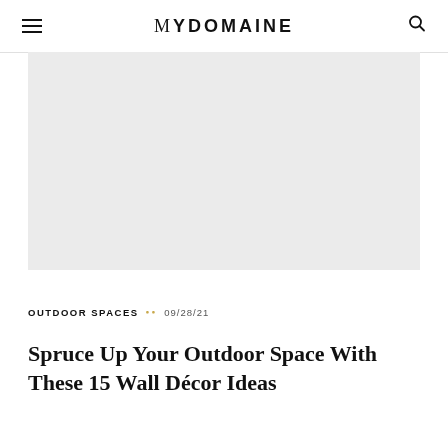MYDOMAINE
[Figure (photo): Gray placeholder image area for article hero image]
OUTDOOR SPACES •• 09/28/21
Spruce Up Your Outdoor Space With These 15 Wall Décor Ideas
Let the summer festivities begin.